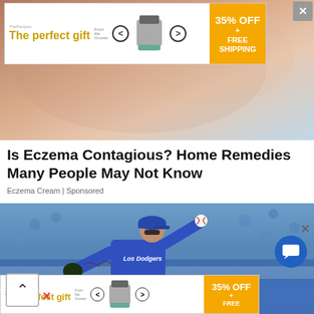[Figure (photo): Advertisement banner: 'The perfect gift' with product image and '35% OFF + FREE SHIPPING' offer in yellow/gold]
[Figure (photo): Close-up photo of human skin (eczema-related health article image)]
Is Eczema Contagious? Home Remedies Many People May Not Know
Eczema Cream | Sponsored
[Figure (photo): Baseball player in Los Angeles Dodgers blue uniform pitching a ball, stadium crowd in background]
[Figure (photo): Advertisement banner bottom: 'The perfect gift' with product image and '35% OFF + FREE SHIPPING' offer]